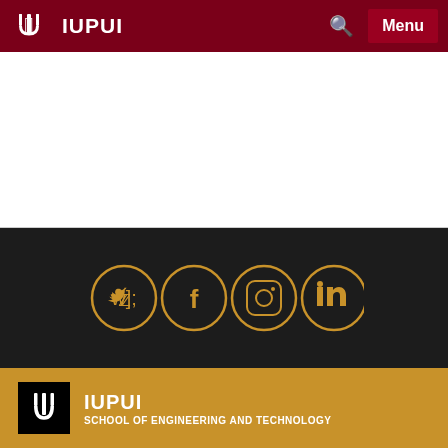IUPUI — Menu
Numerical Simulations
Patient-specifc computation hemodynamics
[Figure (infographic): Social media icons: Twitter, Facebook, Instagram, LinkedIn in gold circles on dark background]
IUPUI SCHOOL OF ENGINEERING AND TECHNOLOGY